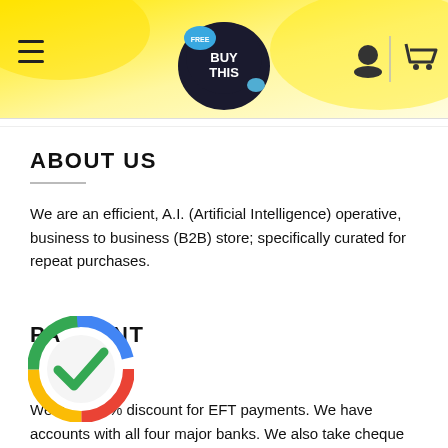[Figure (logo): BuyThis store logo with 'FREE' badge on yellow gradient header background with hamburger menu, user icon and cart icon]
ABOUT US
We are an efficient, A.I. (Artificial Intelligence) operative, business to business (B2B) store; specifically curated for repeat purchases.
PAYMENT
[Figure (logo): Google-style multicolor circular checkmark icon]
We give a 1% discount for EFT payments. We have accounts with all four major banks. We also take cheque cards, credit cards and mobile App payments.